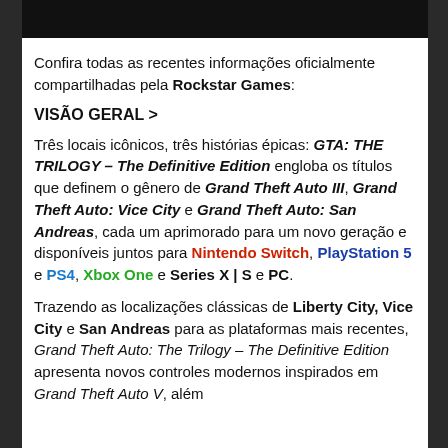[Figure (other): Black banner bar at the top of the page]
Confira todas as recentes informações oficialmente compartilhadas pela Rockstar Games:
VISÃO GERAL >
Três locais icônicos, três histórias épicas: GTA: THE TRILOGY – The Definitive Edition engloba os títulos que definem o gênero de Grand Theft Auto III, Grand Theft Auto: Vice City e Grand Theft Auto: San Andreas, cada um aprimorado para um novo geração e disponíveis juntos para Nintendo Switch, PlayStation 5 e PS4, Xbox One e Series X | S e PC.
Trazendo as localizações clássicas de Liberty City, Vice City e San Andreas para as plataformas mais recentes, Grand Theft Auto: The Trilogy – The Definitive Edition apresenta novos controles modernos inspirados em Grand Theft Auto V, além